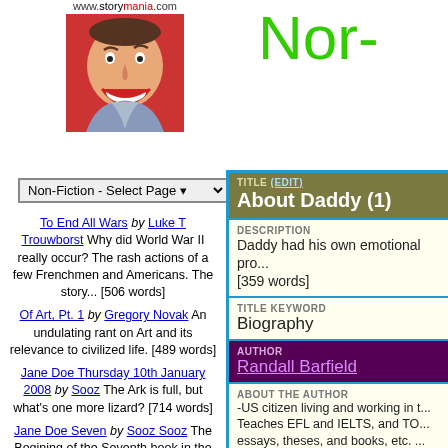[Figure (logo): www.storymania.com logo with illustrated face on red background]
Non-Fiction - Select Page
To End All Wars by Luke T Trouwborst Why did World War II really occur? The rash actions of a few Frenchmen and Americans. The story... [506 words]
Of Art, Pt. 1 by Gregory Novak An undulating rant on Art and its relevance to civilized life. [489 words]
Jane Doe Thursday 10th January 2008 by Sooz The Ark is full, but what's one more lizard? [714 words]
Jane Doe Seven by Sooz Sooz The Begining of the Seventh book in the Jane doe series. [980 words]
Nor-
TITLE (EDIT)
About Daddy (1)
DESCRIPTION
Daddy had his own emotional pro... [359 words]
TITLE KEYWORD
Biography
AUTHOR
Randall Barfield
ABOUT THE AUTHOR
-US citizen living and working in t... Teaches EFL and IELTS, and TO... essays, theses, and books, etc. ... abctales.com; microhorror.com; p... Contact: www.officeteachr.com [May 2010]